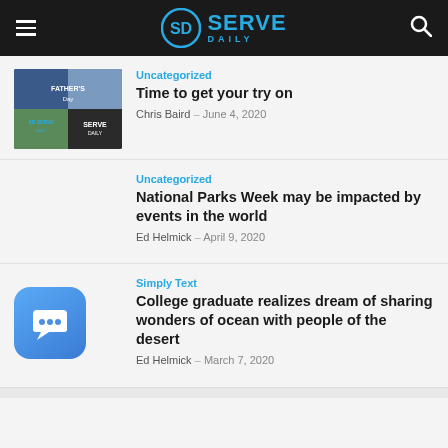SD Serve Daily
[Figure (screenshot): Thumbnail collage of Father's Day related images with SD Serve Daily branding]
Uncategorized
Time to get your try on
Chris Baird – June 4, 2020
Uncategorized
National Parks Week may be impacted by events in the world
Ed Helmick – April 9, 2020
Simply Text
College graduate realizes dream of sharing wonders of ocean with people of the desert
Ed Helmick – March 7, 2020
[Figure (logo): Simply Text app icon - blue rounded square with chat bubble icon]